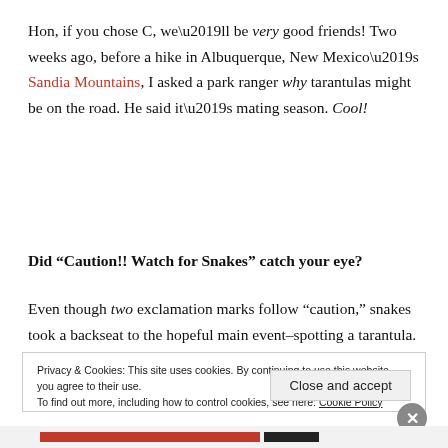Hon, if you chose C, we’ll be very good friends! Two weeks ago, before a hike in Albuquerque, New Mexico’s Sandia Mountains, I asked a park ranger why tarantulas might be on the road. He said it’s mating season. Cool!
Did “Caution!! Watch for Snakes” catch your eye?
Even though two exclamation marks follow “caution,” snakes took a backseat to the hopeful main event–spotting a tarantula. Unfortunately, my childhood friend
Privacy & Cookies: This site uses cookies. By continuing to use this website, you agree to their use.
To find out more, including how to control cookies, see here: Cookie Policy
Close and accept